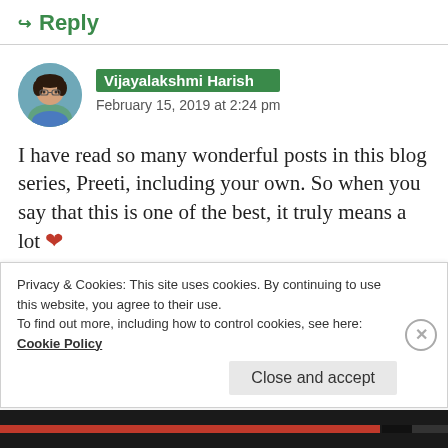↪ Reply
Vijayalakshmi Harish
February 15, 2019 at 2:24 pm
I have read so many wonderful posts in this blog series, Preeti, including your own. So when you say that this is one of the best, it truly means a lot ❤
I had read an interesting piece by one of my writer friends, Dr Shivani Salil, recently, about
Privacy & Cookies: This site uses cookies. By continuing to use this website, you agree to their use.
To find out more, including how to control cookies, see here: Cookie Policy

Close and accept